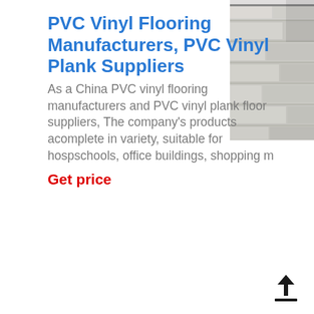PVC Vinyl Flooring Manufacturers, PVC Vinyl Plank Suppliers
As a China PVC vinyl flooring manufacturers and PVC vinyl plank floor suppliers, The company's products are complete in variety, suitable for hospitals, schools, office buildings, shopping malls...
Get price
[Figure (photo): Photo of grey/white PVC vinyl plank flooring installed on a floor, viewed from above at an angle.]